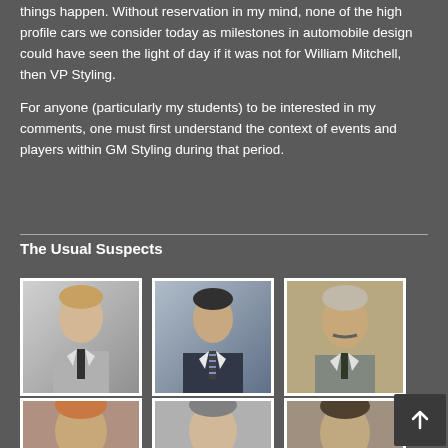things happen. Without reservation in my mind, none of the high profile cars we consider today as milestones in automobile design could have seen the light of day if it was not for William Mitchell, then VP Styling.
For anyone (particularly my students) to be interested in my comments, one must first understand the context of events and players within GM Styling during that period.
The Usual Suspects
[Figure (photo): Portrait photo of a man in a grey suit with dark tie, black and white style]
[Figure (photo): Portrait photo of a man in a dark suit with striped tie]
[Figure (photo): Portrait photo of an older man with mustache in a suit]
[Figure (photo): Partial portrait photo of a person, cropped at bottom of page]
[Figure (photo): Partial portrait photo of a person, cropped at bottom of page]
[Figure (photo): Partial portrait photo of a person, cropped at bottom of page]